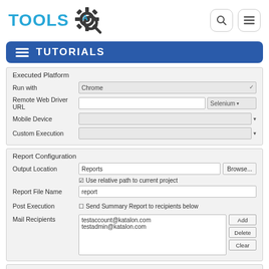[Figure (logo): ToolsQA logo with gear/magnifier icon in teal/blue color]
TUTORIALS
Executed Platform
| Run with | Chrome |  |
| Remote Web Driver URL |  | Selenium |
| Mobile Device |  |  |
| Custom Execution |  |  |
Report Configuration
| Output Location | Reports | Browse... |
|  | ☑ Use relative path to current project |  |
| Report File Name | report |  |
| Post Execution | ☐ Send Summary Report to recipients below |  |
| Mail Recipients | testaccount@katalon.com
testadmin@katalon.com | Add / Delete / Clear |
Other Options
☐ Display Console Log
☐ Keep Console Log after execution completed
Retry Test Suite  3  times ☑ for failed Test Cases only